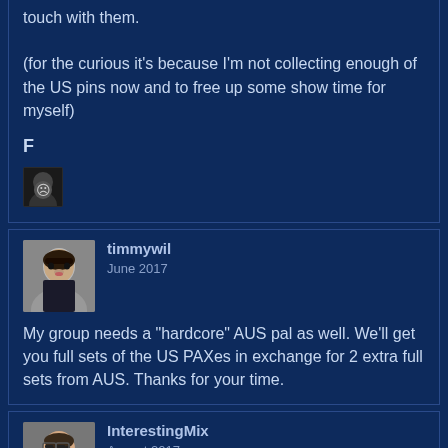touch with them.

(for the curious it's because I'm not collecting enough of the US pins now and to free up some show time for myself)
F
[Figure (photo): Small dark avatar with emoji face]
timmywil
June 2017
[Figure (photo): Avatar photo of timmywil, man with dark hair]
My group needs a "hardcore" AUS pal as well. We'll get you full sets of the US PAXes in exchange for 2 extra full sets from AUS. Thanks for your time.
InterestingMix
August 2017
[Figure (photo): Avatar photo of InterestingMix, man with glasses]